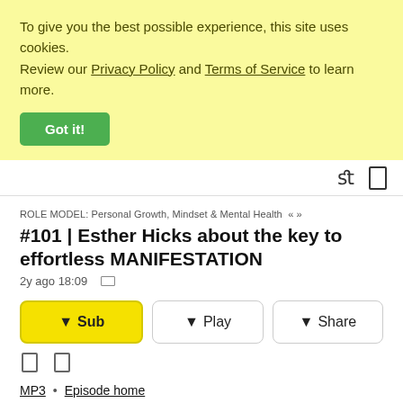To give you the best possible experience, this site uses cookies. Review our Privacy Policy and Terms of Service to learn more.
Got it!
ROLE MODEL: Personal Growth, Mindset & Mental Health « »
#101 | Esther Hicks about the key to effortless MANIFESTATION
2y ago 18:09
⬇ Sub
⬇ Play
⬇ Share
MP3 • Episode home